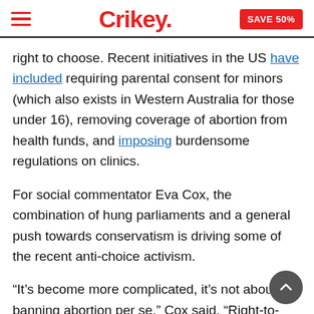Crikey. SAVE 50%
right to choose. Recent initiatives in the US have included requiring parental consent for minors (which also exists in Western Australia for those under 16), removing coverage of abortion from health funds, and imposing burdensome regulations on clinics.
For social commentator Eva Cox, the combination of hung parliaments and a general push towards conservatism is driving some of the recent anti-choice activism.
“It’s become more complicated, it’s not about banning abortion per se,” Cox said. “Right-to-lifers